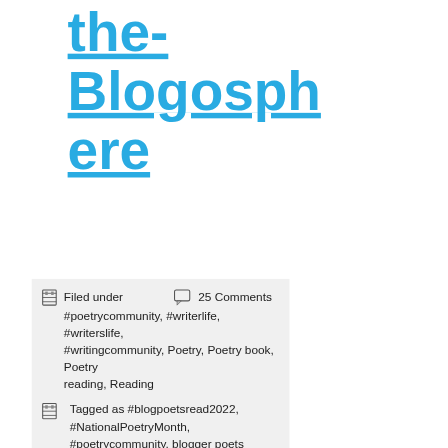the-Blogosphere
Filed under   25 Comments
#poetrycommunity, #writerlife, #writerslife, #writingcommunity, Poetry, Poetry book, Poetry reading, Reading
Tagged as #blogpoetsread2022, #NationalPoetryMonth, #poetrycommunity, blogger poets